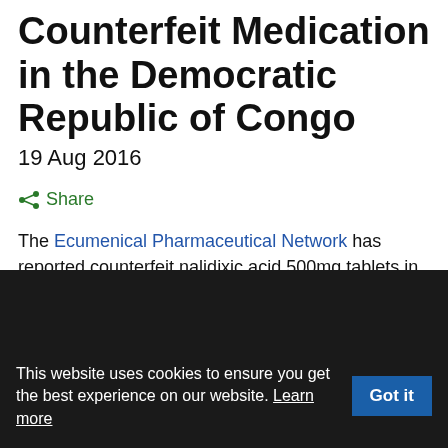Counterfeit Medication in the Democratic Republic of Congo
19 Aug 2016
Share
The Ecumenical Pharmaceutical Network has reported counterfeit nalidixic acid 500mg tablets in the Democratic Republic of Congo; batch number ET082101, manufacture
This website uses cookies to ensure you get the best experience on our website. Learn more  Got it